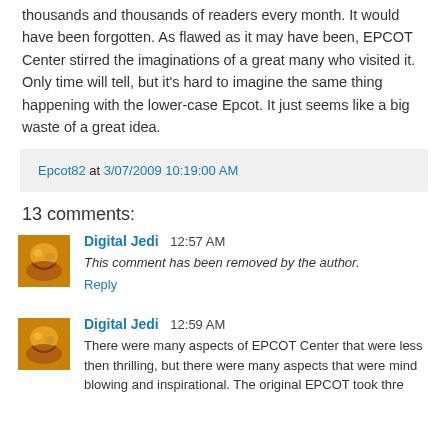thousands and thousands of readers every month. It would have been forgotten. As flawed as it may have been, EPCOT Center stirred the imaginations of a great many who visited it. Only time will tell, but it's hard to imagine the same thing happening with the lower-case Epcot. It just seems like a big waste of a great idea.
Epcot82 at 3/07/2009 10:19:00 AM
13 comments:
Digital Jedi 12:57 AM
This comment has been removed by the author.
Reply
Digital Jedi 12:59 AM
There were many aspects of EPCOT Center that were less then thrilling, but there were many aspects that were mind blowing and inspirational. The original EPCOT took thre